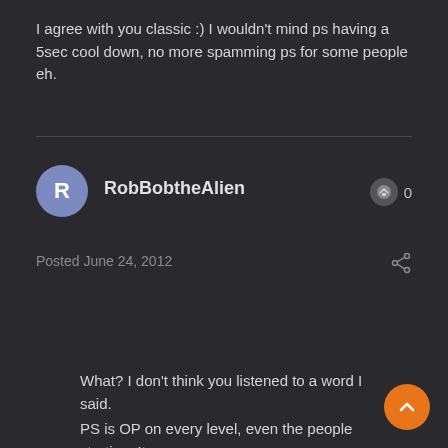I agree with you classic :) I wouldn't mind ps having a 5sec cool down, no more spamming ps for some people eh.
RobBobtheAlien
Posted June 24, 2012
What? I don't think you listened to a word I said.
PS is OP on every level, even the people starting. It